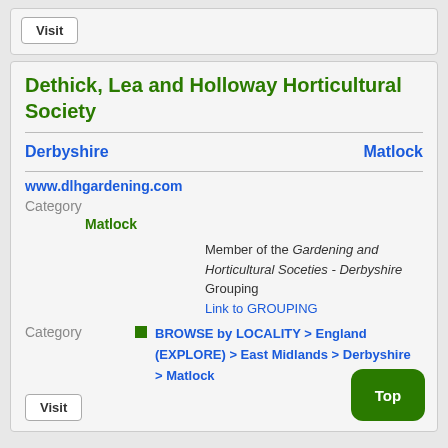Visit
Dethick, Lea and Holloway Horticultural Society
Derbyshire    Matlock
www.dlhgardening.com
Category
    Matlock
Member of the Gardening and Horticultural Soceties - Derbyshire Grouping
Link to GROUPING
Category
  BROWSE by LOCALITY > England (EXPLORE) > East Midlands > Derbyshire > Matlock
Top
Visit